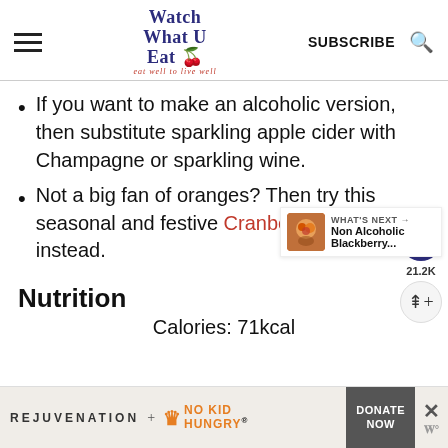Watch What U Eat — eat well to live well
If you want to make an alcoholic version, then substitute sparkling apple cider with Champagne or sparkling wine.
Not a big fan of oranges? Then try this seasonal and festive Cranberry Mimosa instead.
Nutrition
Calories: 71kcal
[Figure (screenshot): What's Next panel with photo of blackberry drink and text: Non Alcoholic Blackberry...]
[Figure (infographic): Ad banner: REJUVENATION + NO KID HUNGRY with DONATE NOW button]